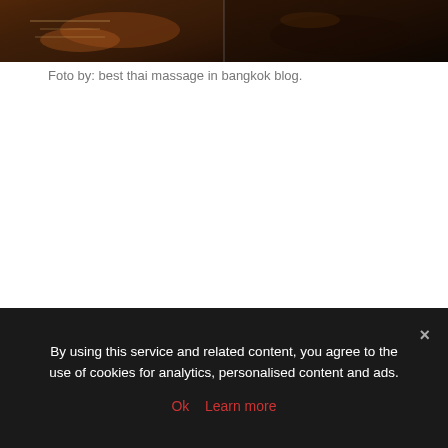[Figure (photo): Two-panel photo showing Thai massage scene: left panel shows hands on paper/writing surface with warm tones, right panel shows a dark brown leather or wooden surface. Both panels are dark/moody in tone.]
Foto by: best thai massage in bangkok blog.
By using this service and related content, you agree to the use of cookies for analytics, personalised content and ads.
Ok   Learn more